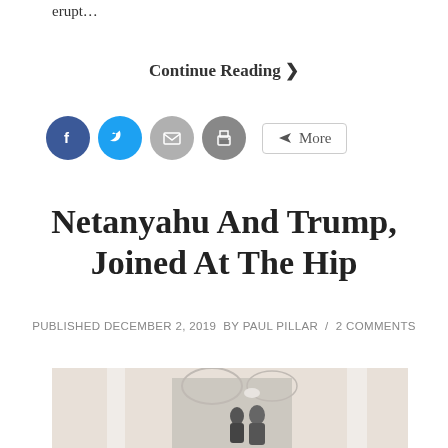erupt…
Continue Reading ❯
[Figure (other): Social sharing icons: Facebook, Twitter, email, print, and a More button]
Netanyahu And Trump, Joined At The Hip
PUBLISHED DECEMBER 2, 2019 BY PAUL PILLAR / 2 COMMENTS
[Figure (photo): Photo of Netanyahu and Trump walking together in a colonnaded walkway, presumably at the White House]